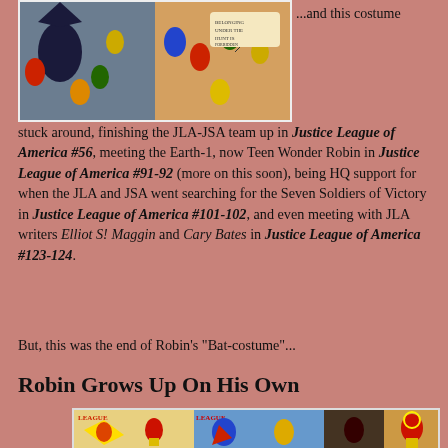[Figure (illustration): Comic book panels showing JLA and JSA characters including Batman, Robin, Flash, Aquaman and others in action scenes]
...and this costume stuck around, finishing the JLA-JSA team up in Justice League of America #56, meeting the Earth-1, now Teen Wonder Robin in Justice League of America #91-92 (more on this soon), being HQ support for when the JLA and JSA went searching for the Seven Soldiers of Victory in Justice League of America #101-102, and even meeting with JLA writers Elliot S! Maggin and Cary Bates in Justice League of America #123-124.
But, this was the end of Robin's "Bat-costume"...
Robin Grows Up On His Own
[Figure (illustration): Comic book panels showing Robin in various League-related scenes with colorful superhero action]